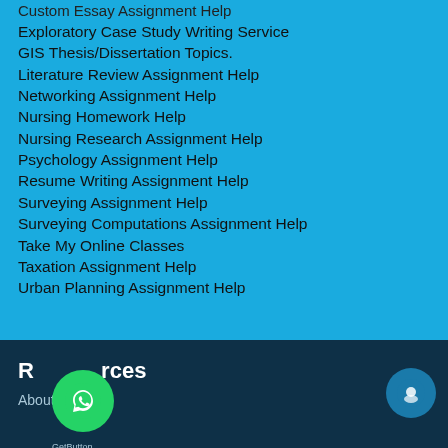Custom Essay Assignment Help
Exploratory Case Study Writing Service
GIS Thesis/Dissertation Topics.
Literature Review Assignment Help
Networking Assignment Help
Nursing Homework Help
Nursing Research Assignment Help
Psychology Assignment Help
Resume Writing Assignment Help
Surveying Assignment Help
Surveying Computations Assignment Help
Take My Online Classes
Taxation Assignment Help
Urban Planning Assignment Help
Resources
About us
GetButton